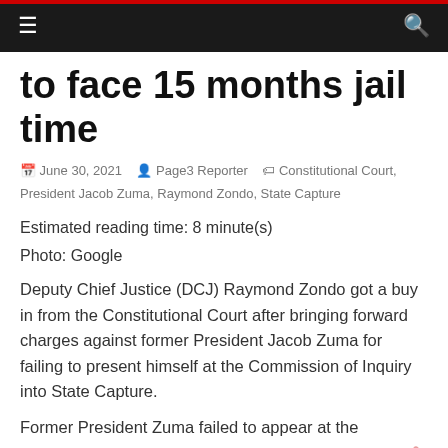≡  [navigation bar]  🔍
to face 15 months jail time
June 30, 2021   Page3 Reporter   Constitutional Court, President Jacob Zuma, Raymond Zondo, State Capture
Estimated reading time: 8 minute(s)
Photo: Google
Deputy Chief Justice (DCJ) Raymond Zondo got a buy in from the Constitutional Court after bringing forward charges against former President Jacob Zuma for failing to present himself at the Commission of Inquiry into State Capture.
Former President Zuma failed to appear at the